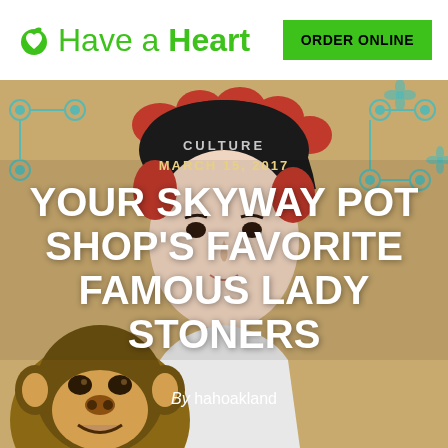Have a Heart | ORDER ONLINE
[Figure (illustration): Hero image of a woman with large red hair curlers and a chimpanzee, against a tan background with teal molecular/floral pattern. Overlaid with article category, date, title and byline text.]
CULTURE
MARCH 15, 2017
YOUR SKYWAY POT SHOP'S FAVORITE FAMOUS LADY STONERS
By hahoakland